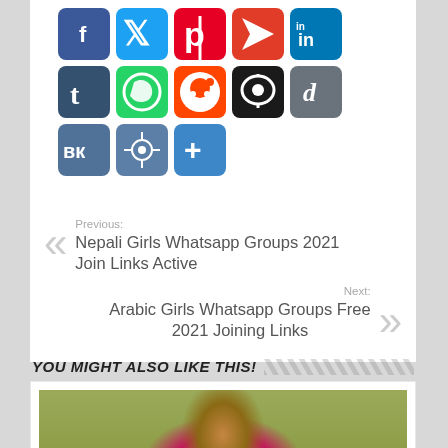[Figure (infographic): Social media share buttons: Facebook, Twitter, Pinterest, Flipboard, LinkedIn (row 1); Tumblr, WhatsApp, Reddit, Bookmark, Diigo (row 2); VK, Mi, Share+ (row 3)]
Previous: Nepali Girls Whatsapp Groups 2021 Join Links Active
Next: Arabic Girls Whatsapp Groups Free 2021 Joining Links
YOU MIGHT ALSO LIKE THIS!
[Figure (photo): Photo of Madrasi Girl Ashwini]
Madrasi Girl Ashwini